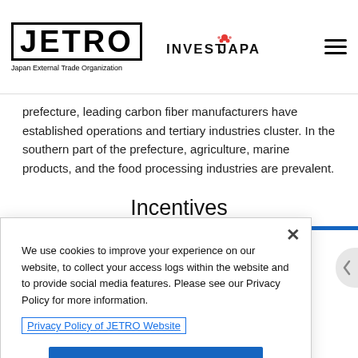JETRO Japan External Trade Organization | INVEST JAPAN
prefecture, leading carbon fiber manufacturers have established operations and tertiary industries cluster. In the southern part of the prefecture, agriculture, marine products, and the food processing industries are prevalent.
Incentives
We use cookies to improve your experience on our website, to collect your access logs within the website and to provide social media features. Please see our Privacy Policy for more information.
Privacy Policy of JETRO Website
OK